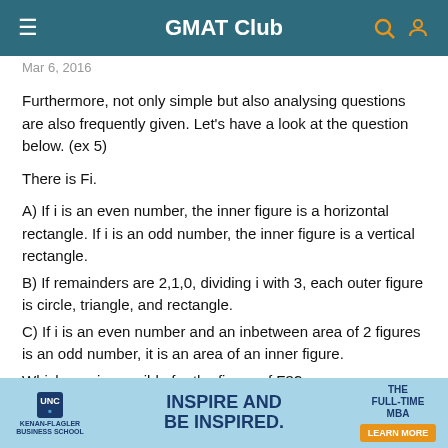GMAT Club
Mar 6, 2016
Furthermore, not only simple but also analysing questions are also frequently given. Let's have a look at the question below. (ex 5)
There is Fi.
A) If i is an even number, the inner figure is a horizontal rectangle. If i is an odd number, the inner figure is a vertical rectangle.
B) If remainders are 2,1,0, dividing i with 3, each outer figure is circle, triangle, and rectangle.
C) If i is an even number and an inbetween area of 2 figures is an odd number, it is an area of an inner figure.
Which one is possible for the figure of F3?
[Figure (infographic): UNC Kenan-Flagler Business School advertisement banner: INSPIRE AND BE INSPIRED. THE FULL-TIME MBA. LEARN MORE button.]